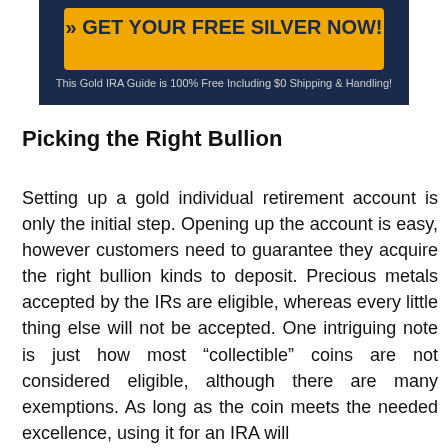[Figure (other): Advertisement banner with dark navy background showing an orange/yellow button with text '» GET YOUR FREE SILVER NOW!' and subtitle 'This Gold IRA Guide is 100% Free Including $0 Shipping & Handling!']
Picking the Right Bullion
Setting up a gold individual retirement account is only the initial step. Opening up the account is easy, however customers need to guarantee they acquire the right bullion kinds to deposit. Precious metals accepted by the IRs are eligible, whereas every little thing else will not be accepted. One intriguing note is just how most “collectible” coins are not considered eligible, although there are many exemptions. As long as the coin meets the needed excellence, using it for an IRA will